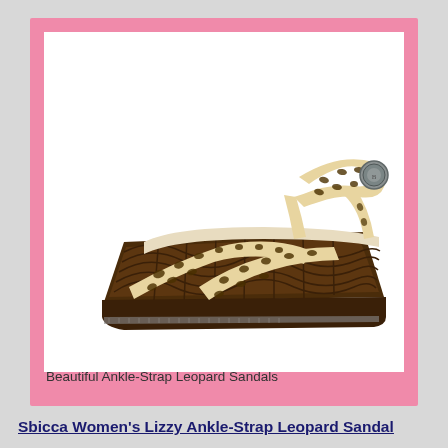[Figure (photo): A Sbicca Women's Lizzy ankle-strap leopard sandal with leopard print straps crossing over the toe area, an ankle strap with a decorative silver buckle, and a tall dark brown woven/braided wedge platform sole.]
Beautiful Ankle-Strap Leopard Sandals
Sbicca Women's Lizzy Ankle-Strap Leopard Sandal